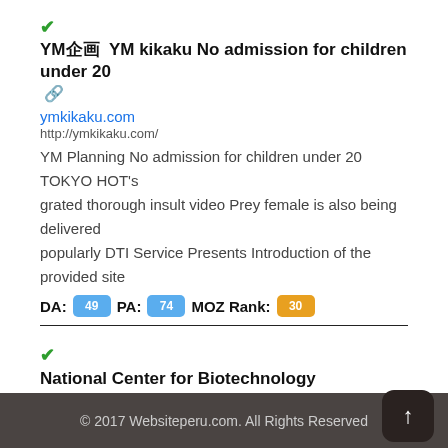YM企画 YM kikaku No admission for children under 20 [external link] ymkikaku.com http://ymkikaku.com/ YM Planning No admission for children under 20 TOKYO HOT's grated thorough insult video Prey female is also being delivered popularly DTI Service Presents Introduction of the provided site DA: 49 PA: 74 MOZ Rank: 30
National Center for Biotechnology Information [external link] nih.gov https://www.ncbi.nlm.nih.gov/pmc/articles/PMC4093701/ National Center for Biotechnology Information DA: 10 PA: 43 MOZ Rank: 25
© 2017 Websiteperu.com. All Rights Reserved